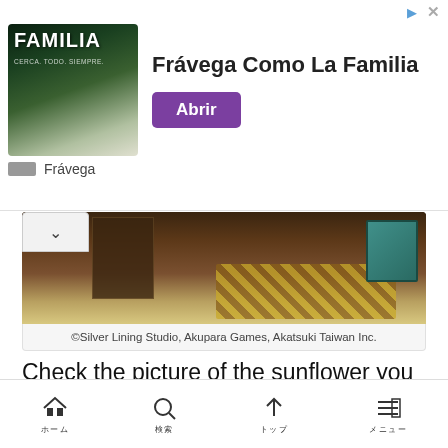[Figure (screenshot): Advertisement banner for Frávega showing sports team with text 'Frávega Como La Familia' and 'Abrir' button]
[Figure (screenshot): Game screenshot showing a room interior from Silver Lining Studio, Akupara Games, Akatsuki Taiwan Inc.]
©Silver Lining Studio, Akupara Games, Akatsuki Taiwan Inc.
Check the picture of the sunflower you just made, and click on the dark green leaves to get "green paint".
[Figure (screenshot): Game screenshot showing sunflowers painting with green paint bottle]
Home | Search | Up | Menu